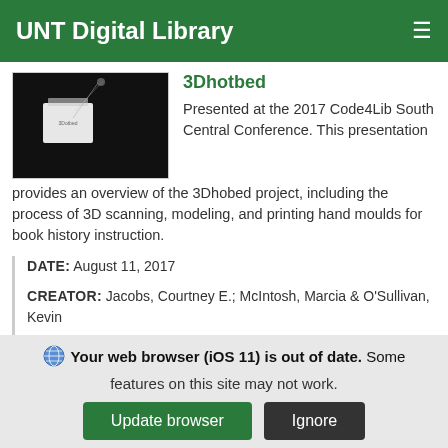UNT Digital Library
3Dhotbed
Presented at the 2017 Code4Lib South Central Conference. This presentation provides an overview of the 3Dhobed project, including the process of 3D scanning, modeling, and printing hand moulds for book history instruction.
DATE: August 11, 2017
CREATOR: Jacobs, Courtney E.; McIntosh, Marcia & O'Sullivan, Kevin
PARTNER: UNT Libraries
Your web browser (iOS 11) is out of date. Some features on this site may not work.